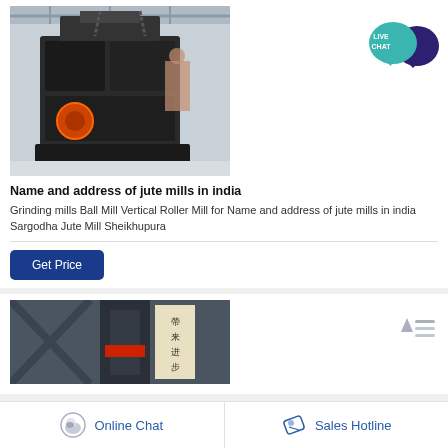[Figure (photo): Industrial crusher/mill machine in a factory warehouse setting]
[Figure (illustration): Live Chat bubble icon with speech bubble, teal and dark purple]
Name and address of jute mills in india
Grinding mills Ball Mill Vertical Roller Mill for Name and address of jute mills in india Sargodha Jute Mill Sheikhupura
Get Price
[Figure (photo): Industrial mill machine close-up, Chinese characters on sign in background]
[Figure (illustration): Scroll to top icon with horizontal lines]
Online Chat
Sales Hotline